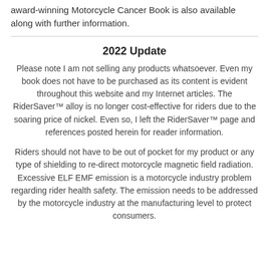award-winning Motorcycle Cancer Book is also available along with further information.
2022 Update
Please note I am not selling any products whatsoever. Even my book does not have to be purchased as its content is evident throughout this website and my Internet articles. The RiderSaver™ alloy is no longer cost-effective for riders due to the soaring price of nickel. Even so, I left the RiderSaver™ page and references posted herein for reader information.
Riders should not have to be out of pocket for my product or any type of shielding to re-direct motorcycle magnetic field radiation. Excessive ELF EMF emission is a motorcycle industry problem regarding rider health safety. The emission needs to be addressed by the motorcycle industry at the manufacturing level to protect consumers.